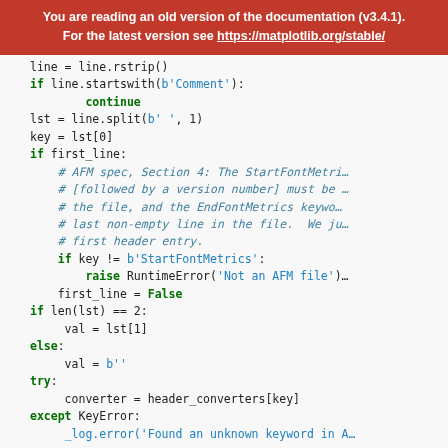You are reading an old version of the documentation (v3.4.1). For the latest version see https://matplotlib.org/stable/
line = line.rstrip()
if line.startswith(b'Comment'):
    continue
lst = line.split(b' ', 1)
key = lst[0]
if first_line:
    # AFM spec, Section 4: The StartFontMetri...
    # [followed by a version number] must be ...
    # the file, and the EndFontMetrics keyword...
    # last non-empty line in the file.  We ju...
    # first header entry.
    if key != b'StartFontMetrics':
        raise RuntimeError('Not an AFM file')
    first_line = False
if len(lst) == 2:
    val = lst[1]
else:
    val = b''
try:
    converter = header_converters[key]
except KeyError:
    _log.error('Found an unknown keyword in A...